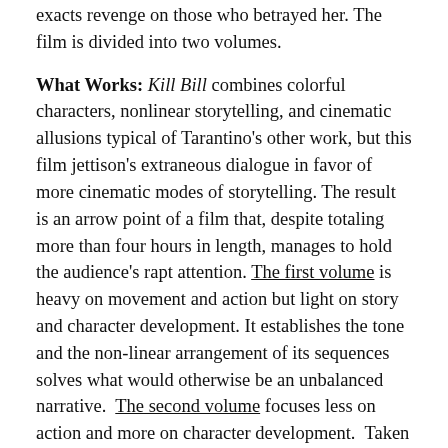exacts revenge on those who betrayed her. The film is divided into two volumes.
What Works: Kill Bill combines colorful characters, nonlinear storytelling, and cinematic allusions typical of Tarantino's other work, but this film jettison's extraneous dialogue in favor of more cinematic modes of storytelling. The result is an arrow point of a film that, despite totaling more than four hours in length, manages to hold the audience's rapt attention. The first volume is heavy on movement and action but light on story and character development. It establishes the tone and the non-linear arrangement of its sequences solves what would otherwise be an unbalanced narrative.  The second volume focuses less on action and more on character development.  Taken as a whole the film has a completeness and a symmetry that makes it a narrative marvel. The characters of Kill Bill are some of the most watchable of all of Tarantino's